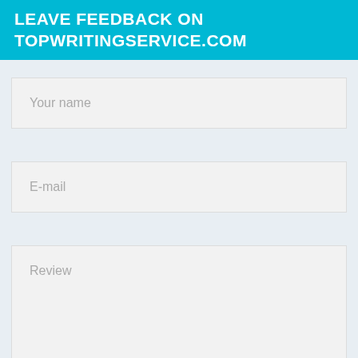LEAVE FEEDBACK ON TOPWRITINGSERVICE.COM
[Figure (screenshot): Web form with fields: Your name, E-mail, Review, and a star rating row for Prices showing 0/5]
Your name
E-mail
Review
Prices  ★★★★★  0/5